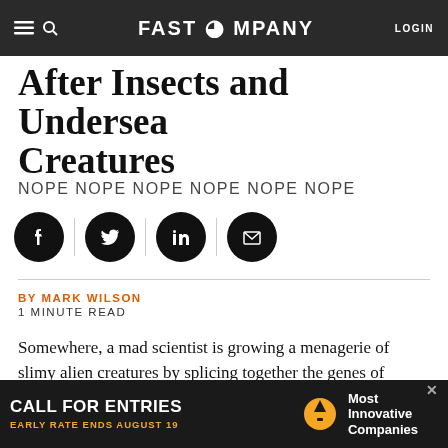FAST COMPANY | LOGIN
After Insects and Undersea Creatures
NOPE NOPE NOPE NOPE NOPE NOPE
[Figure (illustration): Social share buttons: Facebook, Twitter, LinkedIn, Email — black circles with white icons]
BY MARK WILSON
1 MINUTE READ
Somewhere, a mad scientist is growing a menagerie of slimy alien creatures by splicing together the genes of squids and insects. But it’s not in some lab below Area 51–it’s on the Mac Pro of Ari Weinkle, who’s been spending his nights and weekends off from Icon Interactive to piece together this shivers-
[Figure (other): Advertisement banner: CALL FOR ENTRIES — EARLY RATE ENDS AUGUST 19 — Most Innovative Companies]